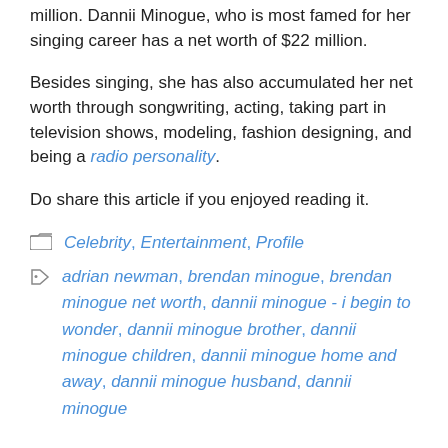million. Dannii Minogue, who is most famed for her singing career has a net worth of $22 million.
Besides singing, she has also accumulated her net worth through songwriting, acting, taking part in television shows, modeling, fashion designing, and being a radio personality.
Do share this article if you enjoyed reading it.
Celebrity, Entertainment, Profile
adrian newman, brendan minogue, brendan minogue net worth, dannii minogue - i begin to wonder, dannii minogue brother, dannii minogue children, dannii minogue home and away, dannii minogue husband, dannii minogue net worth 2019, dannii minogue net worth 2023